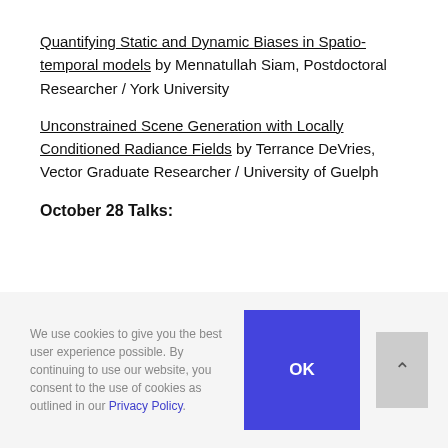Quantifying Static and Dynamic Biases in Spatio-temporal models by Mennatullah Siam, Postdoctoral Researcher / York University
Unconstrained Scene Generation with Locally Conditioned Radiance Fields by Terrance DeVries, Vector Graduate Researcher / University of Guelph
October 28 Talks:
We use cookies to give you the best user experience possible. By continuing to use our website, you consent to the use of cookies as outlined in our Privacy Policy.